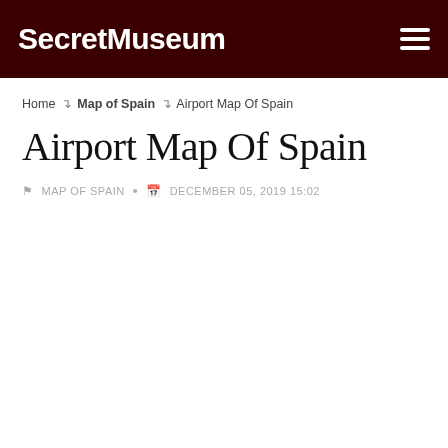SecretMuseum
Home > Map of Spain > Airport Map Of Spain
Airport Map Of Spain
MAP OF SPAIN  •  DECEMBER 05, 2019 15:02